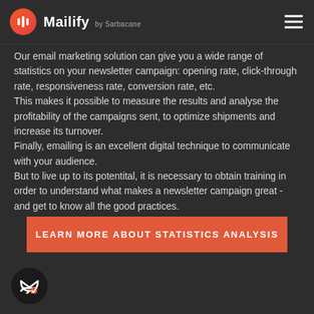Mailify by Sarbacane
Our email marketing solution can give you a wide range of statistics on your newsletter campaign: opening rate, click-through rate, responsiveness rate, conversion rate, etc. This makes it possible to measure the results and analyse the profitability of the campaigns sent, to optimize shipments and increase its turnover. Finally, emailing is an excellent digital technique to communicate with your audience. But to live up to its potentital, it is necessary to obtain training in order to understand what makes a newsletter campaign great - and get to know all the good practices.
LEARN MORE ABOUT STATISTICS ANALYSIS